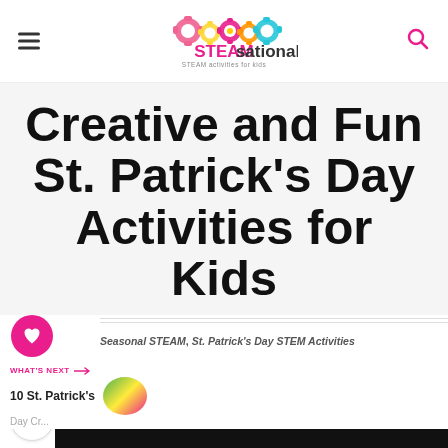STEAMsational - STEAM activities for kids
Creative and Fun St. Patrick's Day Activities for Kids
Seasonal STEAM, St. Patrick's Day STEM Activities
30
WHAT'S NEXT → 10 St. Patrick's Day Crafts